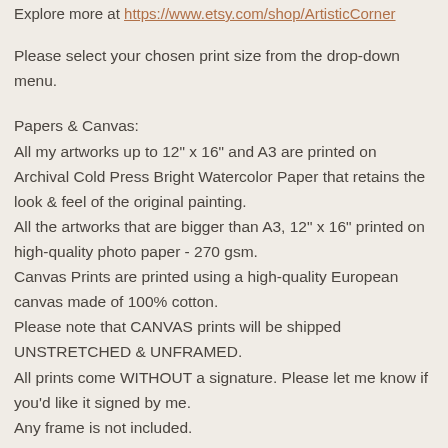Explore more at https://www.etsy.com/shop/ArtisticCorner
Please select your chosen print size from the drop-down menu.
Papers & Canvas:
All my artworks up to 12" x 16" and A3 are printed on Archival Cold Press Bright Watercolor Paper that retains the look & feel of the original painting.
All the artworks that are bigger than A3, 12" x 16" printed on high-quality photo paper - 270 gsm.
Canvas Prints are printed using a high-quality European canvas made of 100% cotton.
Please note that CANVAS prints will be shipped UNSTRETCHED & UNFRAMED.
All prints come WITHOUT a signature. Please let me know if you'd like it signed by me.
Any frame is not included.